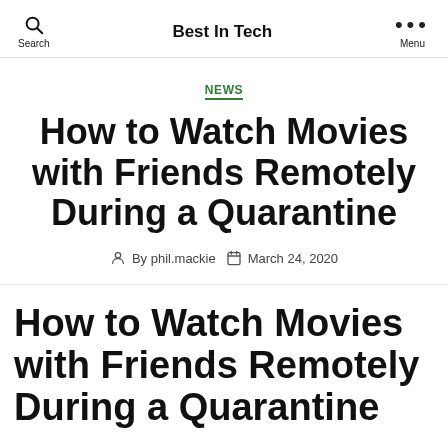Best In Tech
NEWS
How to Watch Movies with Friends Remotely During a Quarantine
By phil.mackie  March 24, 2020
How to Watch Movies with Friends Remotely During a Quarantine